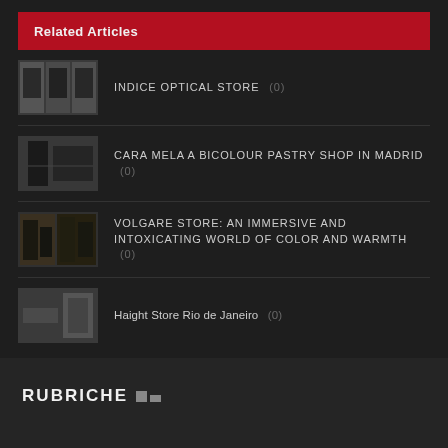Related Articles
INDICE OPTICAL STORE  (0)
CARA MELA A BICOLOUR PASTRY SHOP IN MADRID  (0)
VOLGARE STORE: AN IMMERSIVE AND INTOXICATING WORLD OF COLOR AND WARMTH  (0)
Haight Store Rio de Janeiro  (0)
RUBRICHE